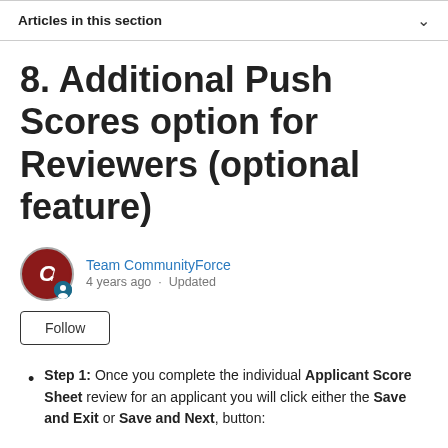Articles in this section
8. Additional Push Scores option for Reviewers (optional feature)
Team CommunityForce
4 years ago · Updated
Follow
Step 1: Once you complete the individual Applicant Score Sheet review for an applicant you will click either the Save and Exit or Save and Next, button: